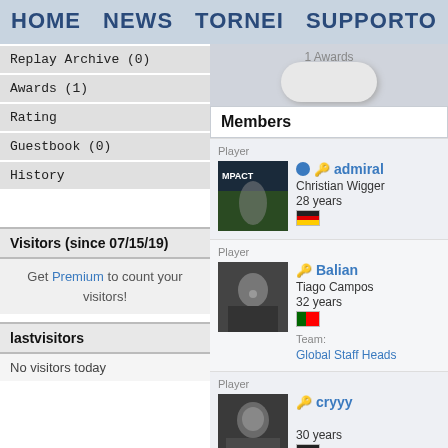HOME  NEWS  TORNEI  SUPPORTO
Replay Archive (0)
Awards (1)
Rating
Guestbook (0)
History
Visitors (since 07/15/19)
Get Premium to count your visitors!
lastvisitors
No visitors today
[Figure (photo): Awards pillow/banner image with text '1 Awards']
Members
Player
admiral
Christian Wigger
28 years
[DE flag]
Player
Balian
Tiago Campos
32 years
[PT flag]
Team: Global Staff Heads
Player
cryyy
30 years
[DE flag]